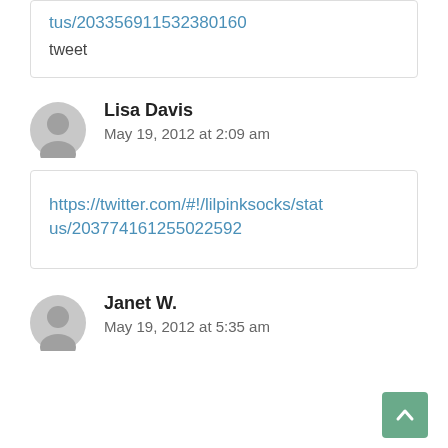tus/203356911532380160
tweet
Lisa Davis
May 19, 2012 at 2:09 am
https://twitter.com/#!/lilpinksocks/status/203774161255022592
Janet W.
May 19, 2012 at 5:35 am